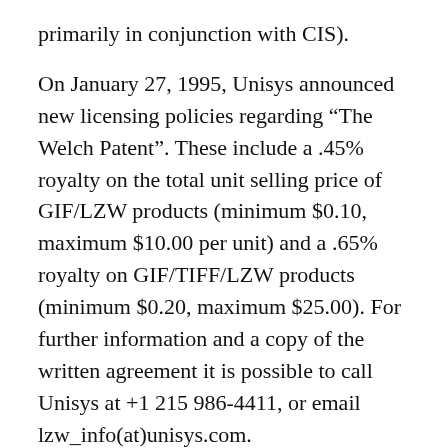primarily in conjunction with CIS).
On January 27, 1995, Unisys announced new licensing policies regarding “The Welch Patent”. These include a .45% royalty on the total unit selling price of GIF/LZW products (minimum $0.10, maximum $10.00 per unit) and a .65% royalty on GIF/TIFF/LZW products (minimum $0.20, maximum $25.00). For further information and a copy of the written agreement it is possible to call Unisys at +1 215 986‑4411, or email lzw_info(at)unisys.com.
Any organization using LZW should look at whether they have an infringement on Unisys’ patent. CompuServe is not involved in any of